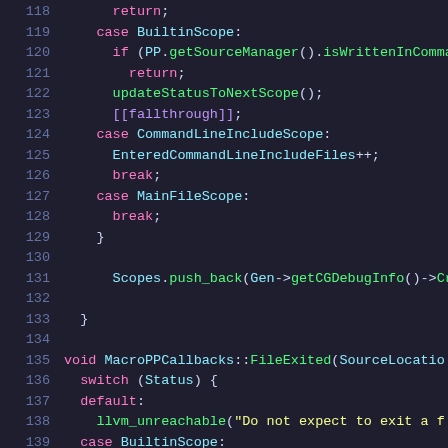Source code listing lines 118-139, C++ code for MacroPPCallbacks
118    return;
119    case BuiltinScope:
120      if (PP.getSourceManager().isWrittenInComman
121        return;
122      updateStatusToNextScope();
123      [[fallthrough]];
124    case CommandLineIncludeScope:
125      EnteredCommandLineIncludeFiles++;
126      break;
127    case MainFileScope:
128      break;
129    }
130
131    Scopes.push_back(Gen->getCGDebugInfo()->Create
132
133  }
134
135  void MacroPPCallbacks::FileExited(SourceLocatio
136    switch (Status) {
137    default:
138      llvm_unreachable("Do not expect to exit a f
139    case BuiltinScope: